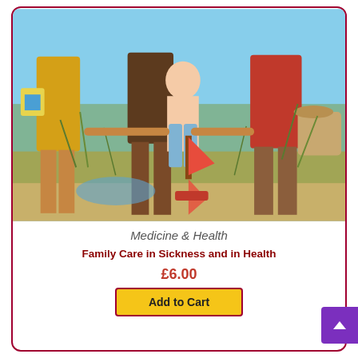[Figure (photo): Vintage photograph of a family at the beach: adults' legs visible from waist down, child in the center holding a toy sailboat, coastal dune grass background, sunny sky]
Medicine & Health
Family Care in Sickness and in Health
£6.00
Add to Cart